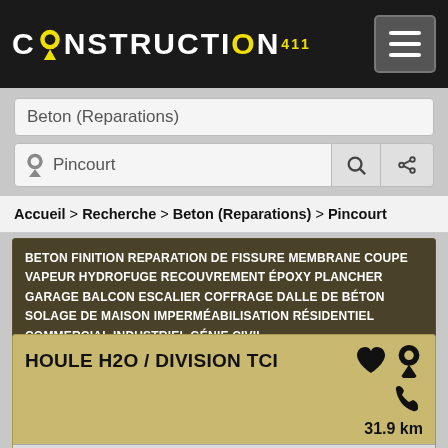CONSTRUCTION 411
Beton (Reparations)
Pincourt
Accueil > Recherche > Beton (Reparations) > Pincourt
BETON FINITION REPARATION DE FISSURE MEMBRANE COUPE VAPEUR HYDROFUGE RECOUVREMENT ÉPOXY PLANCHER GARAGE BALCON ESCALIER COFFRAGE DALLE DE BÉTON SOLAGE DE MAISON IMPERMÉABILISATION RÉSIDENTIEL COMMERCIAL INDUSTRIEL GÉNIE CIVIL
HOULE H2O / DIVISION TCI
31.9 km
Aqueducs - Égouts
LAVAL, Laval, Laval